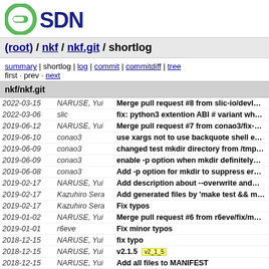[Figure (logo): OSDN logo — green circle-arrow icon with OSDN text in dark blue]
(root) / nkf / nkf.git / shortlog
summary | shortlog | log | commit | commitdiff | tree
first · prev · next
nkf/nkf.git
| Date | Author | Message |
| --- | --- | --- |
| 2022-03-15 | NARUSE, Yui | Merge pull request #8 from slic-io/devi… |
| 2022-03-06 | slic | fix: python3 extention ABI # variant wh… |
| 2019-06-12 | NARUSE, Yui | Merge pull request #7 from conao3/fix-… |
| 2019-06-10 | conao3 | use xargs not to use backquote shell e… |
| 2019-06-09 | conao3 | changed test mkdir directory from /tmp… |
| 2019-06-09 | conao3 | enable -p option when mkdir definitely… |
| 2019-06-08 | conao3 | Add -p option for mkdir to suppress er… |
| 2019-02-17 | NARUSE, Yui | Add description about --overwrite and… |
| 2019-02-17 | Kazuhiro Sera | Add generated files by 'make test && m… |
| 2019-02-17 | Kazuhiro Sera | Fix typos |
| 2019-01-02 | NARUSE, Yui | Merge pull request #6 from r6eve/fix/m… |
| 2019-01-01 | r6eve | Fix minor typos |
| 2018-12-15 | NARUSE, Yui | fix typo |
| 2018-12-15 | NARUSE, Yui | v2.1.5  v2_1_5 |
| 2018-12-15 | NARUSE, Yui | Add all files to MANIFEST |